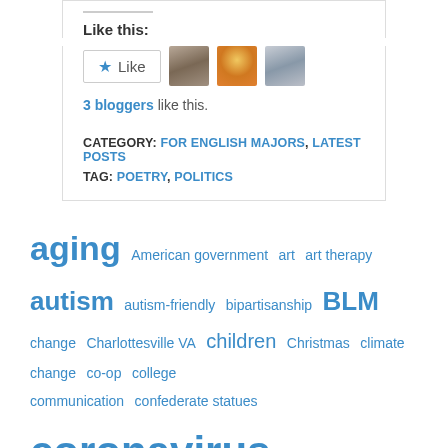Like this:
[Figure (other): Like button with star icon and 3 blogger avatars]
3 bloggers like this.
CATEGORY: FOR ENGLISH MAJORS, LATEST POSTS
TAG: POETRY, POLITICS
aging American government art art therapy autism autism-friendly bipartisanship BLM change Charlottesville VA children Christmas climate change co-op college communication confederate statues coronavirus COVID COVID-19 criticism disability education election elections environment family fashion flash fiction